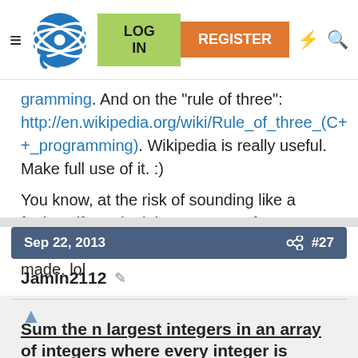LOG IN | REGISTER
gramming. And on the "rule of three": http://en.wikipedia.org/wiki/Rule_of_three_(C++_programming). Wikipedia is really useful. Make full use of it. :)

You know, at the risk of sounding like a fanboy, if D H is right any more often, I may need to get some "Listen to D H" T-shirts made. lol
Sep 22, 2013 #27
Jamin2112
Sum the n largest integers in an array of integers where every integer is